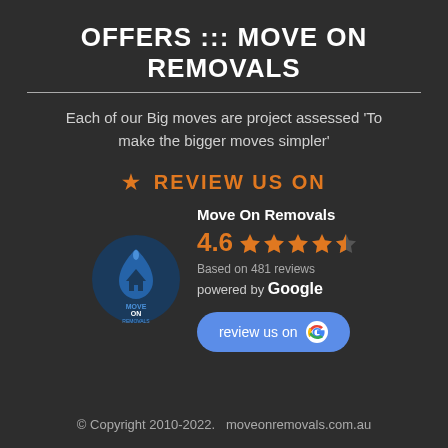OFFERS ::: MOVE ON REMOVALS
Each of our Big moves are project assessed 'To make the bigger moves simpler'
★ REVIEW US ON
[Figure (logo): Move On Removals logo: dark circular badge with house/water drop icon, text 'MOVE ON REMOVALS']
Move On Removals
4.6 ★★★★★ (4.5 stars)
Based on 481 reviews
powered by Google
review us on G
© Copyright 2010-2022.  moveonremovals.com.au